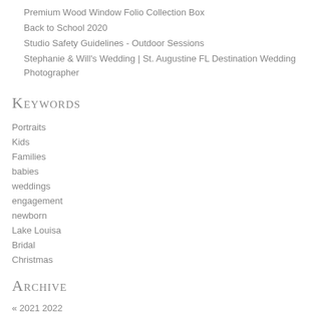Premium Wood Window Folio Collection Box
Back to School 2020
Studio Safety Guidelines - Outdoor Sessions
Stephanie & Will's Wedding | St. Augustine FL Destination Wedding Photographer
Keywords
Portraits
Kids
Families
babies
weddings
engagement
newborn
Lake Louisa
Bridal
Christmas
Archive
« 2021 2022